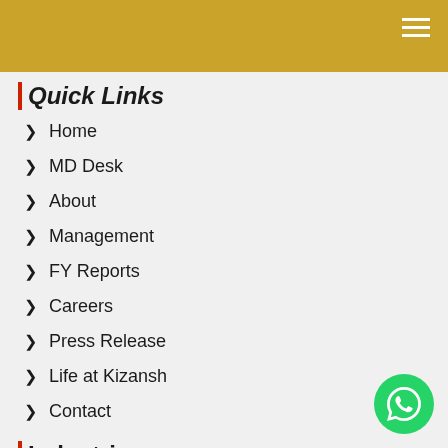Quick Links
Home
MD Desk
About
Management
FY Reports
Careers
Press Release
Life at Kizansh
Contact
Industries
Technology
Liquor